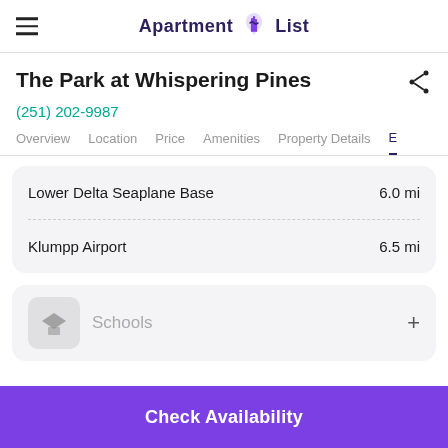Apartment List
The Park at Whispering Pines
(251) 202-9987
Overview  Location  Price  Amenities  Property Details  E
| Location | Distance |
| --- | --- |
| Lower Delta Seaplane Base | 6.0 mi |
| Klumpp Airport | 6.5 mi |
Schools
Check Availability